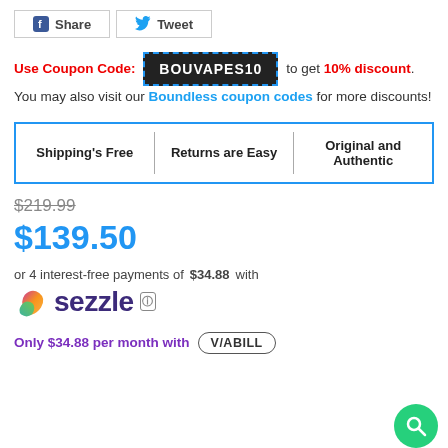[Figure (other): Social share buttons: Facebook Share and Twitter Tweet]
Use Coupon Code: BOUVAPES10 to get 10% discount. You may also visit our Boundless coupon codes for more discounts!
| Shipping's Free | Returns are Easy | Original and Authentic |
| --- | --- | --- |
$219.99
$139.50
or 4 interest-free payments of $34.88 with Sezzle
Only $34.88 per month with VIABILL